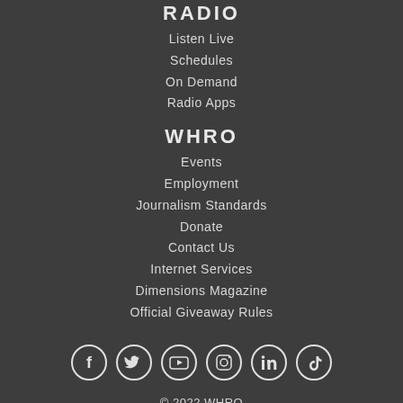RADIO
Listen Live
Schedules
On Demand
Radio Apps
WHRO
Events
Employment
Journalism Standards
Donate
Contact Us
Internet Services
Dimensions Magazine
Official Giveaway Rules
[Figure (infographic): Row of 6 social media icons (Facebook, Twitter, YouTube, Instagram, LinkedIn, TikTok) as white circle outlines]
© 2022 WHRO